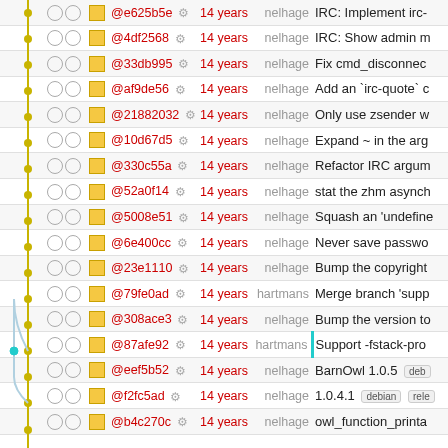| graph | ○○ | □ | hash | age | author | message |
| --- | --- | --- | --- | --- | --- | --- |
| • | ○ ○ | □ | @e625b5e ⚙ | 14 years | nelhage | IRC: Implement irc- |
| • | ○ ○ | □ | @4df2568 ⚙ | 14 years | nelhage | IRC: Show admin m |
| • | ○ ○ | □ | @33db995 ⚙ | 14 years | nelhage | Fix cmd_disconnec |
| • | ○ ○ | □ | @af9de56 ⚙ | 14 years | nelhage | Add an `irc-quote` c |
| • | ○ ○ | □ | @21882032 ⚙ | 14 years | nelhage | Only use zsender w |
| • | ○ ○ | □ | @10d67d5 ⚙ | 14 years | nelhage | Expand ~ in the arg |
| • | ○ ○ | □ | @330c55a ⚙ | 14 years | nelhage | Refactor IRC argum |
| • | ○ ○ | □ | @52a0f14 ⚙ | 14 years | nelhage | stat the zhm asynch |
| • | ○ ○ | □ | @5008e51 ⚙ | 14 years | nelhage | Squash an 'undefine |
| • | ○ ○ | □ | @6e400cc ⚙ | 14 years | nelhage | Never save passwo |
| • | ○ ○ | □ | @23e1110 ⚙ | 14 years | nelhage | Bump the copyright |
| • | ○ ○ | □ | @79fe0ad ⚙ | 14 years | hartmans | Merge branch 'supp |
| • | ○ ○ | □ | @308ace3 ⚙ | 14 years | nelhage | Bump the version to |
| • | ○ ○ | □ | @87afe92 ⚙ | 14 years | hartmans | Support -fstack-pro |
| • | ○ ○ | □ | @eef5b52 ⚙ | 14 years | nelhage | BarnOwl 1.0.5  deb |
| • | ○ ○ | □ | @f2fc5ad ⚙ | 14 years | nelhage | 1.0.4.1  debian  rele |
| • | ○ ○ | □ | @b4c270c ⚙ | 14 years | nelhage | owl_function_printa |